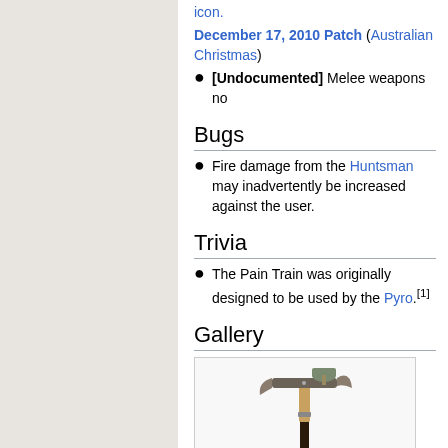icon.
December 17, 2010 Patch (Australian Christmas)
[Undocumented] Melee weapons no
Bugs
Fire damage from the Huntsman may inadvertently be increased against the user.
Trivia
The Pain Train was originally designed to be used by the Pyro.[1]
Gallery
[Figure (photo): The Pain Train weapon - a wooden pole with an axe-like blade and shovel attached at the top]